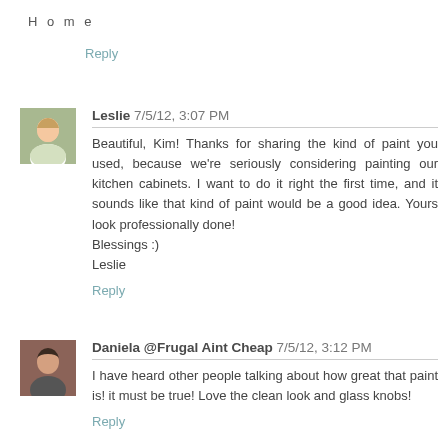Home
Reply
Leslie 7/5/12, 3:07 PM
Beautiful, Kim! Thanks for sharing the kind of paint you used, because we're seriously considering painting our kitchen cabinets. I want to do it right the first time, and it sounds like that kind of paint would be a good idea. Yours look professionally done!
Blessings :)
Leslie
Reply
Daniela @Frugal Aint Cheap 7/5/12, 3:12 PM
I have heard other people talking about how great that paint is! it must be true! Love the clean look and glass knobs!
Reply